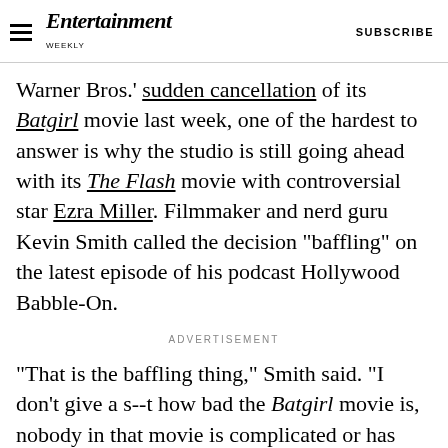Entertainment Weekly | SUBSCRIBE
Warner Bros.' sudden cancellation of its Batgirl movie last week, one of the hardest to answer is why the studio is still going ahead with its The Flash movie with controversial star Ezra Miller. Filmmaker and nerd guru Kevin Smith called the decision "baffling" on the latest episode of his podcast Hollywood Babble-On.
ADVERTISEMENT
"That is the baffling thing," Smith said. "I don't give a s--t how bad the Batgirl movie is, nobody in that movie is complicated or has anything in their real life you have to market around. In The Flash